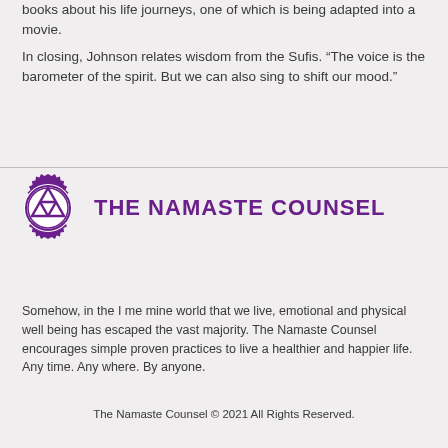books about his life journeys, one of which is being adapted into a movie.
In closing, Johnson relates wisdom from the Sufis. “The voice is the barometer of the spirit. But we can also sing to shift our mood.”
[Figure (logo): The Namaste Counsel logo with a purple mandala-style circular emblem and text 'THE NAMASTE COUNSEL' in purple capitals]
Somehow, in the I me mine world that we live, emotional and physical well being has escaped the vast majority. The Namaste Counsel encourages simple proven practices to live a healthier and happier life. Any time. Any where. By anyone.
The Namaste Counsel © 2021 All Rights Reserved.